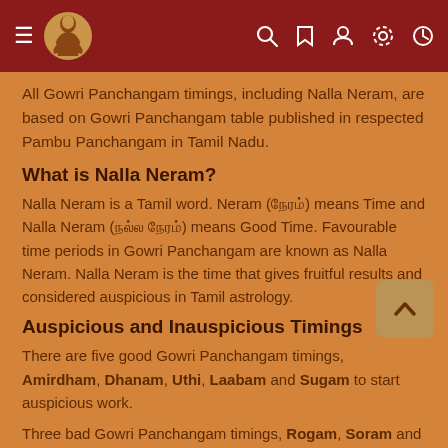Gowri Panchangam app header with hamburger menu, logo, search, bookmark, user, settings, and clock icons
All Gowri Panchangam timings, including Nalla Neram, are based on Gowri Panchangam table published in respected Pambu Panchangam in Tamil Nadu.
What is Nalla Neram?
Nalla Neram is a Tamil word. Neram (நேரம்) means Time and Nalla Neram (நல்ல நேரம்) means Good Time. Favourable time periods in Gowri Panchangam are known as Nalla Neram. Nalla Neram is the time that gives fruitful results and considered auspicious in Tamil astrology.
Auspicious and Inauspicious Timings
There are five good Gowri Panchangam timings, Amirdham, Dhanam, Uthi, Laabam and Sugam to start auspicious work.
Three bad Gowri Panchangam timings, Rogam, Soram and Visham should be avoided.